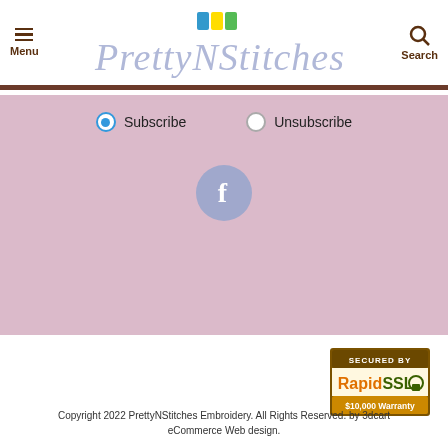[Figure (screenshot): PrettyNStitches website header with hamburger menu icon labeled Menu on the left, decorative script logo 'PrettyNStitches' in the center with thread spools above, and a search icon labeled Search on the right]
[Figure (screenshot): Pink section with Subscribe (selected) and Unsubscribe radio buttons, and a Facebook icon circle below]
[Figure (logo): SECURED BY RapidSSL $10,000 Warranty badge]
Copyright 2022 PrettyNStitches Embroidery. All Rights Reserved. by 3dcart eCommerce Web design.